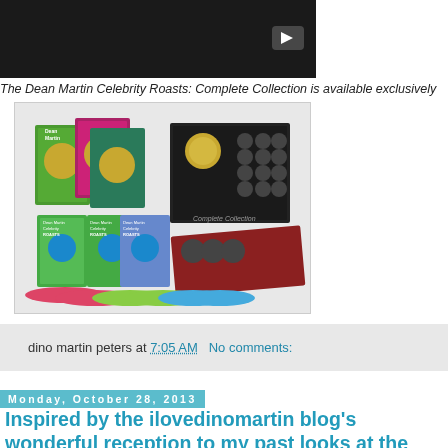[Figure (screenshot): Video thumbnail - dark background with play button]
The Dean Martin Celebrity Roasts: Complete Collection is available exclusively
[Figure (photo): Dean Martin Celebrity Roasts Complete Collection DVD box set product image showing multiple DVD cases, discs, and box packaging]
dino martin peters at 7:05 AM   No comments:
Monday, October 28, 2013
Inspired by the ilovedinomartin blog's wonderful reception to my past looks at the Dean Martin filmography